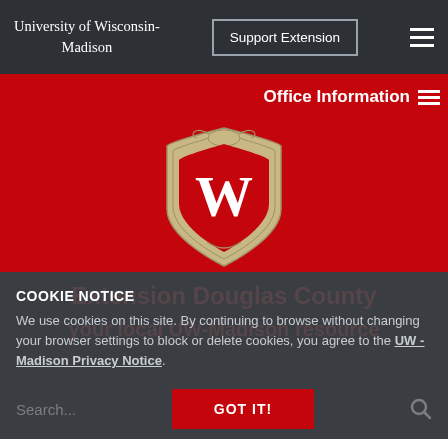University of Wisconsin-Madison
Office Information
[Figure (logo): University of Wisconsin-Madison crest/shield logo with W on red background]
COOKIE NOTICE
We use cookies on this site. By continuing to browse without changing your browser settings to block or delete cookies, you agree to the UW - Madison Privacy Notice.
Search...
GOT IT!